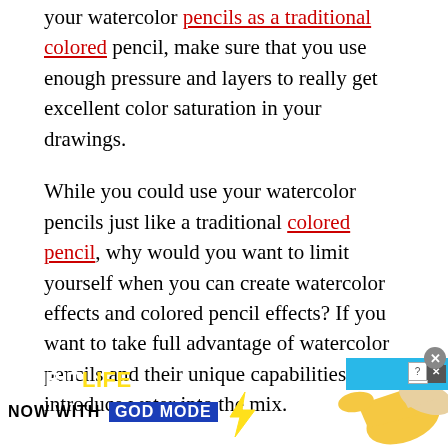your watercolor pencils as a traditional colored pencil, make sure that you use enough pressure and layers to really get excellent color saturation in your drawings.
While you could use your watercolor pencils just like a traditional colored pencil, why would you want to limit yourself when you can create watercolor effects and colored pencil effects? If you want to take full advantage of watercolor pencils and their unique capabilities, you'll introduce water into the mix.
[Figure (screenshot): BitLife advertisement banner: 'BitLife - NOW WITH GOD MODE' with animated hand pointer, on a light blue background.]